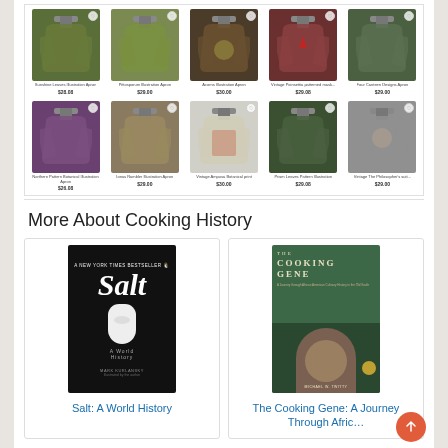[Figure (screenshot): Grid of 10 botanical illustration aprons for sale, two rows of five. Row 1: Sunshine Leaves illustration apron $28.08, Pittosporum illustration apron $29.00, Acorns illustration apron $30.00, Vintage Poinsettia patterned mask $29.08, Four Canteen Designs apron $29.00. Row 2: Northern Pattern Botanical illustration Apron $26.08, Ionas Rambler Illustration apron $29.00, Vintage Ampusa Botanical print $30.00, Prism Leaves Pattern illustration $29.08, Vintage The Philosopher's suit $29.00]
More About Cooking History
[Figure (screenshot): Book cover: Salt: A World History by Mark Kurlansky — black cover with white salt shaker illustration]
Salt: A World History
[Figure (screenshot): Book cover: The Cooking Gene: A Journey Through African American Culinary History in the Old South by Michael W. Twitty — green cover with author photo]
The Cooking Gene: A Journey Through Afric...